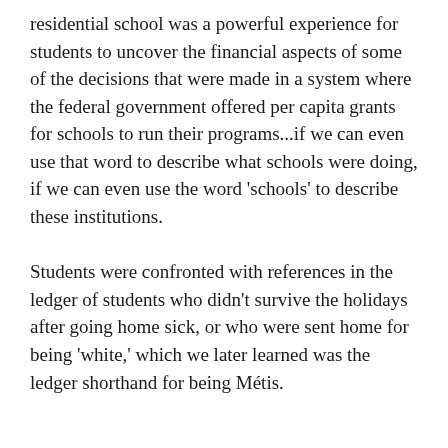residential school was a powerful experience for students to uncover the financial aspects of some of the decisions that were made in a system where the federal government offered per capita grants for schools to run their programs...if we can even use that word to describe what schools were doing, if we can even use the word 'schools' to describe these institutions.
Students were confronted with references in the ledger of students who didn't survive the holidays after going home sick, or who were sent home for being 'white,' which we later learned was the ledger shorthand for being Métis.